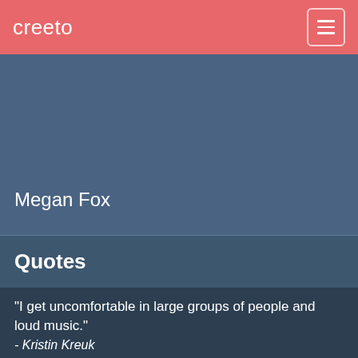creeto
Megan Fox
Quotes
"I get uncomfortable in large groups of people and loud music."
- Kristin Kreuk